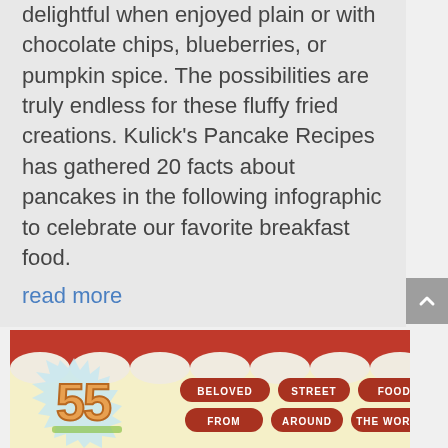delightful when enjoyed plain or with chocolate chips, blueberries, or pumpkin spice. The possibilities are truly endless for these fluffy fried creations. Kulick's Pancake Recipes has gathered 20 facts about pancakes in the following infographic to celebrate our favorite breakfast food.
read more
[Figure (illustration): Infographic illustration showing '55 BELOVED STREET FOODS FROM AROUND THE WORLD' with cartoon food and decorative red and white striped awning background.]